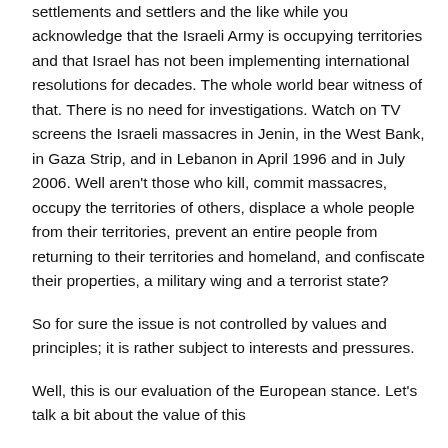settlements and settlers and the like while you acknowledge that the Israeli Army is occupying territories and that Israel has not been implementing international resolutions for decades. The whole world bear witness of that. There is no need for investigations. Watch on TV screens the Israeli massacres in Jenin, in the West Bank, in Gaza Strip, and in Lebanon in April 1996 and in July 2006. Well aren't those who kill, commit massacres, occupy the territories of others, displace a whole people from their territories, prevent an entire people from returning to their territories and homeland, and confiscate their properties, a military wing and a terrorist state?
So for sure the issue is not controlled by values and principles; it is rather subject to interests and pressures.
Well, this is our evaluation of the European stance. Let's talk a bit about the value of this